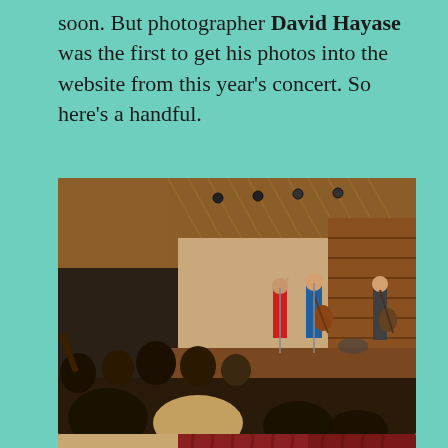soon. But photographer David Hayase was the first to get his photos into the website from this year's concert. So here's a handful.
[Figure (photo): Concert photo showing musicians performing on stage in an auditorium with warm wood-paneled walls. Audience members are visible in the foreground with hands raised. Several performers are on stage including a woman in red dress, a man in a blue shirt playing guitar, and another performer on the right with a guitar. Stage lighting and drum kit visible in the background.]
[Figure (photo): Partial concert photo showing the same auditorium with red/brown curtains and a performer visible at the bottom of the frame.]